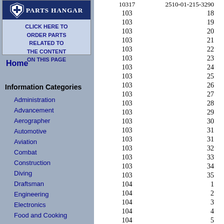[Figure (logo): Parts Hangar logo with shield icon and text 'PARTS HANGAR' and 'CLICK HERE TO ORDER PARTS RELATED TO THE CONTENT ON THIS PAGE']
Home
Information Categories
Administration
Advancement
Aerographer
Automotive
Aviation
Combat
Construction
Diving
Draftsman
Engineering
Electronics
Food and Cooking
Math
Medical
Music
Nuclear Fundamentals
Photography
Religion
USMC
| 10317 | 2510-01-215-3290 |
| --- | --- |
| 103 | 18 |
| 103 | 19 |
| 103 | 20 |
| 103 | 21 |
| 103 | 22 |
| 103 | 23 |
| 103 | 24 |
| 103 | 25 |
| 103 | 26 |
| 103 | 27 |
| 103 | 28 |
| 103 | 29 |
| 103 | 30 |
| 103 | 31 |
| 103 | 31 |
| 103 | 32 |
| 103 | 33 |
| 103 | 34 |
| 103 | 35 |
| 104 | 1 |
| 104 | 2 |
| 104 | 3 |
| 104 | 4 |
| 104 | 5 |
| 104 | 6 |
| 104 | 7 |
| 104 | 8 |
| 104 | 9 |
| 104 | 10 |